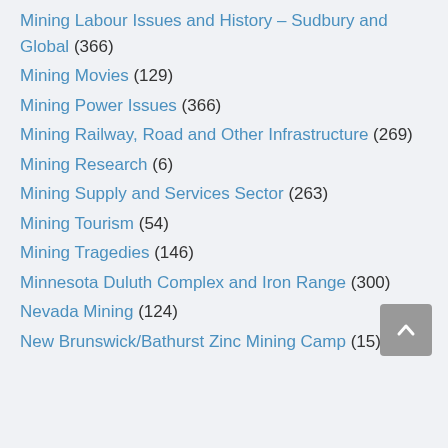Mining Labour Issues and History – Sudbury and Global (366)
Mining Movies (129)
Mining Power Issues (366)
Mining Railway, Road and Other Infrastructure (269)
Mining Research (6)
Mining Supply and Services Sector (263)
Mining Tourism (54)
Mining Tragedies (146)
Minnesota Duluth Complex and Iron Range (300)
Nevada Mining (124)
New Brunswick/Bathurst Zinc Mining Camp (15)